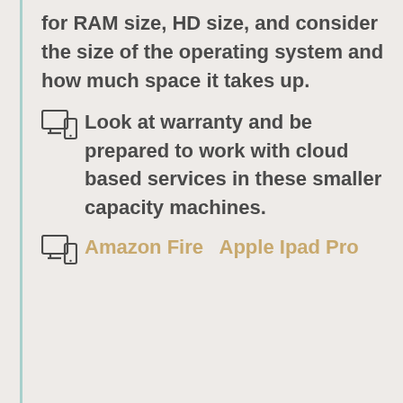for RAM size, HD size, and consider the size of the operating system and how much space it takes up.
Look at warranty and be prepared to work with cloud based services in these smaller capacity machines.
Amazon Fire   Apple Ipad Pro